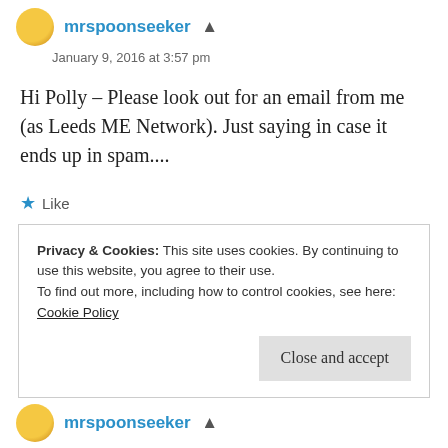mrspoonseeker [admin]
January 9, 2016 at 3:57 pm
Hi Polly – Please look out for an email from me (as Leeds ME Network). Just saying in case it ends up in spam....
★ Like
Reply
Privacy & Cookies: This site uses cookies. By continuing to use this website, you agree to their use.
To find out more, including how to control cookies, see here: Cookie Policy
Close and accept
mrspoonseeker [admin]